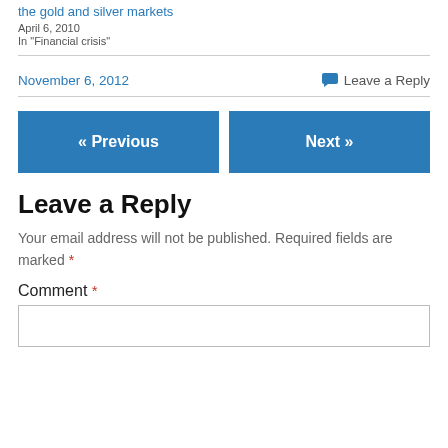the gold and silver markets
April 6, 2010
In "Financial crisis"
November 6, 2012
Leave a Reply
« Previous
Next »
Leave a Reply
Your email address will not be published. Required fields are marked *
Comment *